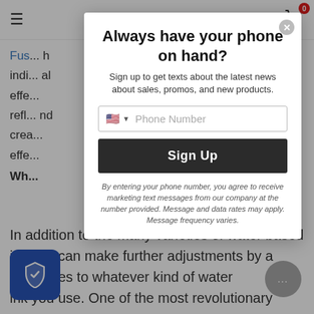[Figure (screenshot): Website page background with hamburger menu icon, cart icon with badge '0', partial article text about water-based ink with a blue hyperlink starting 'Fus...' and bottom paragraph starting 'In addition to the many varieties of water based ink you can make further adjustments by a... additives to whatever kind of water... ink you use. One of the most revolutionary']
[Figure (screenshot): Modal popup overlay: 'Always have your phone on hand?' signup modal with phone number input field (US flag), dark Sign Up button, and legal disclaimer text in italics]
Always have your phone on hand?
Sign up to get texts about the latest news about sales, promos, and new products.
Phone Number
Sign Up
By entering your phone number, you agree to receive marketing text messages from our company at the number provided. Message and data rates may apply. Message frequency varies.
In addition to the many varieties of water based ink you can make further adjustments by a... additives to whatever kind of water... ink you use. One of the most revolutionary